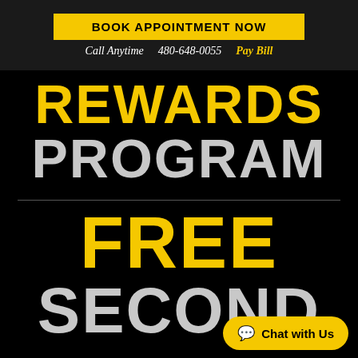BOOK APPOINTMENT NOW
Call Anytime  480-648-0055  Pay Bill
REWARDS PROGRAM
FREE SECOND
Chat with Us